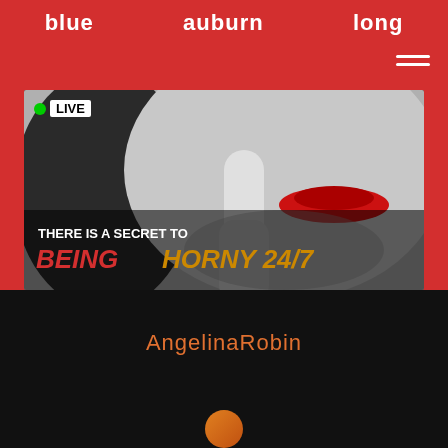blue   auburn   long
[Figure (photo): Black and white close-up photo of a woman with red lips holding finger to lips in a shushing gesture, with LIVE badge overlay and text overlay reading THERE IS A SECRET TO BEING HORNY 24/7]
AngelinaRobin